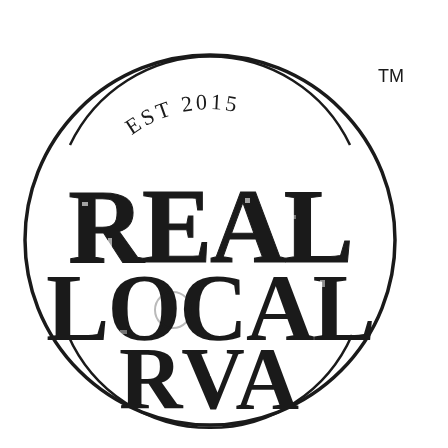[Figure (logo): Real Local RVA stamp-style circular logo with distressed lettering. Large bold text reads REAL LOCAL RVA in three stacked lines inside a circle with concentric arc lines. EST 2015 appears at the top inside the circle. TM trademark symbol appears outside the circle in the upper right.]